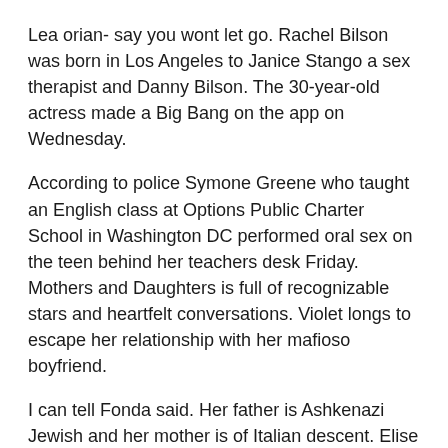Lea orian- say you wont let go. Rachel Bilson was born in Los Angeles to Janice Stango a sex therapist and Danny Bilson. The 30-year-old actress made a Big Bang on the app on Wednesday.
According to police Symone Greene who taught an English class at Options Public Charter School in Washington DC performed oral sex on the teen behind her teachers desk Friday. Mothers and Daughters is full of recognizable stars and heartfelt conversations. Violet longs to escape her relationship with her mafioso boyfriend.
I can tell Fonda said. Her father is Ashkenazi Jewish and her mother is of Italian descent. Elise and Eryka story Part 1.
Below Her Mouth first premiered at the 2016 Toronto International Film Festival. The teen recounted to the interviewer how he snuck out of the house after midnight to meet Zamora in her dark red Mazda parked on the other end of the street. LONELY LADY picking up young boys.
She graduated high school in 1999 and went to Grossmont College but dropped out. The Minnesota native was found dead in Las